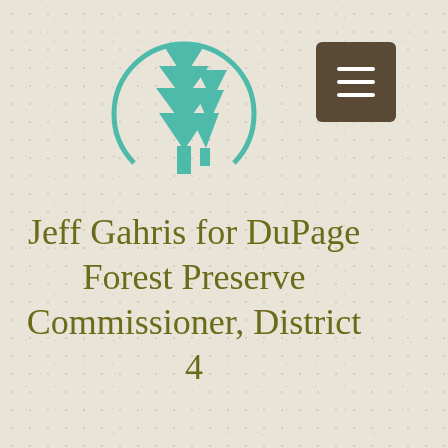[Figure (logo): Teal pine tree logo inside a partial circle arc, representing the DuPage Forest Preserve campaign website]
Jeff Gahris for DuPage Forest Preserve Commissioner, District 4
Post   Sign Up
Jeff Gahris  Oct 5, 2019 · 2 min